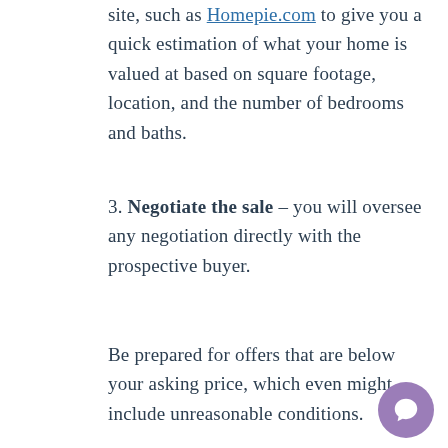site, such as Homepie.com to give you a quick estimation of what your home is valued at based on square footage, location, and the number of bedrooms and baths.
3. Negotiate the sale – you will oversee any negotiation directly with the prospective buyer.
Be prepared for offers that are below your asking price, which even might include unreasonable conditions.